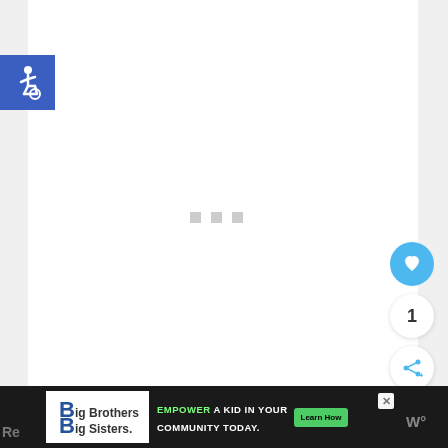[Figure (logo): Accessibility wheelchair icon — white person in wheelchair on blue square background]
[Figure (infographic): Three small gray loading/placeholder squares centered in white content area]
[Figure (other): Blue circular heart/like button on right side]
1
[Figure (other): White circular share button with share icon on right side]
[Figure (other): Advertisement banner: Big Brothers Big Sisters logo with text EMPOWER A KID IN YOUR COMMUNITY TODAY. and Learn How button]
Re
[Figure (logo): Watermark logo at bottom right — stylized W with degree symbol]